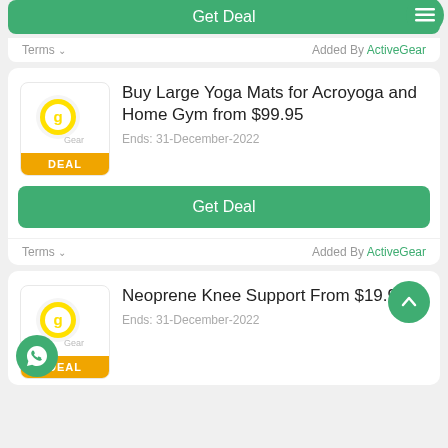[Figure (screenshot): Green Get Deal button at top of page with hamburger menu icon button]
Terms ∨    Added By ActiveGear
[Figure (logo): ActiveGear logo with yellow circle G icon]
Buy Large Yoga Mats for Acroyoga and Home Gym from $99.95
Ends: 31-December-2022
[Figure (screenshot): Green Get Deal button]
Terms ∨    Added By ActiveGear
[Figure (logo): ActiveGear logo with yellow circle G icon]
Neoprene Knee Support From $19.95
Ends: 31-December-2022